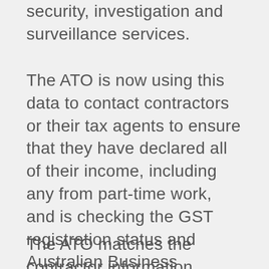security, investigation and surveillance services.
The ATO is now using this data to contact contractors or their tax agents to ensure that they have declared all of their income, including any from part-time work, and is checking the GST registration status and Australian Business Numbers (ABNs) of contractors that are businesses to ensure their relevant obligations are met.
The ATO matches the contractor information provided by businesses in their taxable